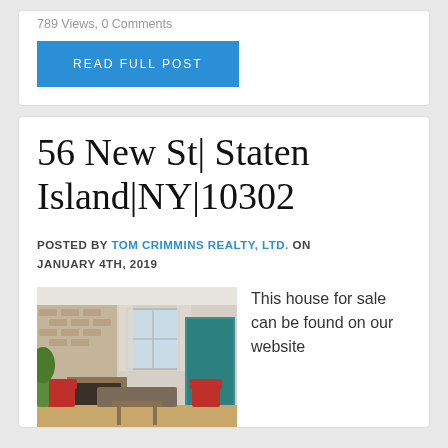789 Views, 0 Comments
READ FULL POST
56 New St| Staten Island|NY|10302
POSTED BY TOM CRIMMINS REALTY, LTD. ON JANUARY 4TH, 2019
[Figure (photo): Interior photo of a house living room with a fireplace, brick wall, teal doorway, red chairs, and a window with curtains.]
This house for sale can be found on our website